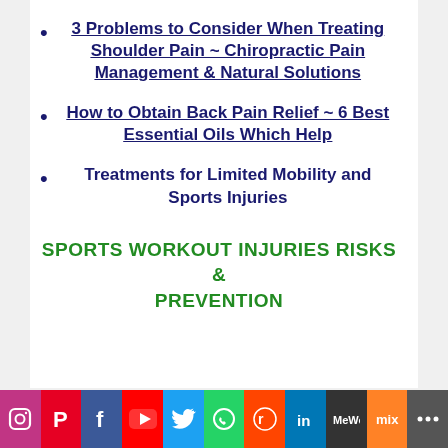3 Problems to Consider When Treating Shoulder Pain ~ Chiropractic Pain Management & Natural Solutions
How to Obtain Back Pain Relief ~ 6 Best Essential Oils Which Help
Treatments for Limited Mobility and Sports Injuries
SPORTS WORKOUT INJURIES RISKS & PREVENTION